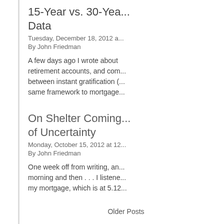15-Year vs. 30-Yea... Data
Tuesday, December 18, 2012 a...
By John Friedman
A few days ago I wrote about retirement accounts, and com... between instant gratification (... same framework to mortgage...
On Shelter Coming... of Uncertainty
Monday, October 15, 2012 at 12...
By John Friedman
One week off from writing, an... morning and then . . . I listene... my mortgage, which is at 5.12...
Older Posts